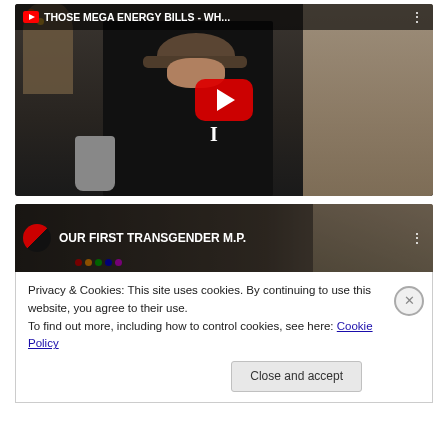[Figure (screenshot): YouTube video thumbnail showing a man wearing a dark hat and black shirt, with title bar 'THOSE MEGA ENERGY BILLS - WH...' and a red YouTube play button overlay. Background shows plants and wall photos.]
[Figure (screenshot): YouTube video thumbnail (partial) with title 'OUR FIRST TRANSGENDER M.P.' and YouTube logo/icon on the left.]
Privacy & Cookies: This site uses cookies. By continuing to use this website, you agree to their use.
To find out more, including how to control cookies, see here: Cookie Policy